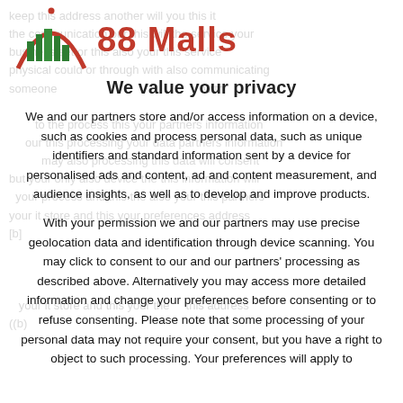[Figure (logo): 88 Malls logo with green city skyline icon inside a red arch, and red bold text '88 Malls']
We value your privacy
We and our partners store and/or access information on a device, such as cookies and process personal data, such as unique identifiers and standard information sent by a device for personalised ads and content, ad and content measurement, and audience insights, as well as to develop and improve products.
With your permission we and our partners may use precise geolocation data and identification through device scanning. You may click to consent to our and our partners' processing as described above. Alternatively you may access more detailed information and change your preferences before consenting or to refuse consenting. Please note that some processing of your personal data may not require your consent, but you have a right to object to such processing. Your preferences will apply to